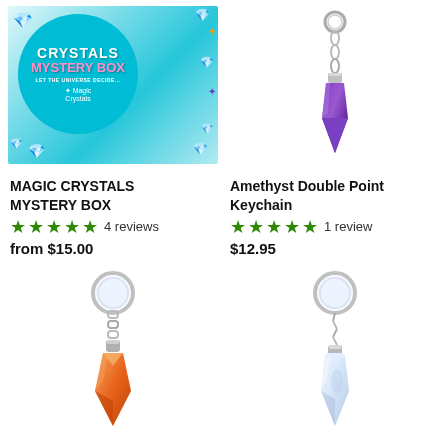[Figure (photo): Magic Crystals Mystery Box product image with teal circular logo and colorful crystal illustrations on packaging]
[Figure (photo): Amethyst Double Point Keychain with purple amethyst crystal pendant on silver chain and ring]
MAGIC CRYSTALS MYSTERY BOX
★★★★★ 4 reviews
from $15.00
Amethyst Double Point Keychain
★★★★★ 1 review
$12.95
[Figure (photo): Carnelian orange cone/pendulum shaped crystal keychain on silver chain and ring]
[Figure (photo): Opalite white crystal point keychain on silver chain and ring]